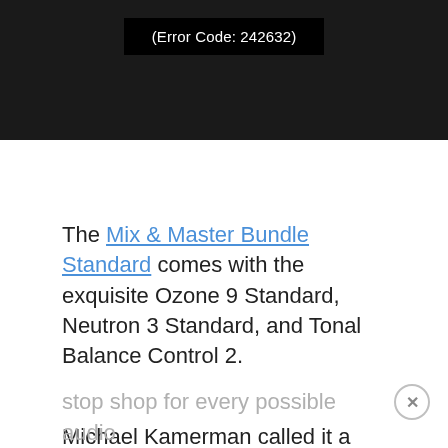[Figure (screenshot): Video player error screen on black background showing error code 242632]
The Mix & Master Bundle Standard comes with the exquisite Ozone 9 Standard, Neutron 3 Standard, and Tonal Balance Control 2.
Michael Kamerman called it a “rare, supportive, and reliable friend,” producer Martin Nessi said it’s the “one stop shop for every possible audio